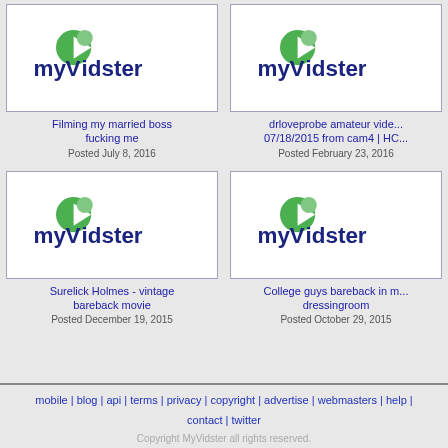[Figure (screenshot): myVidster logo thumbnail for video: Filming my married boss fucking me]
Filming my married boss fucking me
Posted July 8, 2016
[Figure (screenshot): myVidster logo thumbnail for video: drloveprobe amateur video 07/18/2015 from cam4 | HC...]
drloveprobe amateur video 07/18/2015 from cam4 | HC...
Posted February 23, 2016
[Figure (screenshot): myVidster logo thumbnail for video: Surelick Holmes - vintage bareback movie]
Surelick Holmes - vintage bareback movie
Posted December 19, 2015
[Figure (screenshot): myVidster logo thumbnail for video: College guys bareback in m... dressingroom]
College guys bareback in m... dressingroom
Posted October 29, 2015
mobile | blog | api | terms | privacy | copyright | advertise | webmasters | help | contact | twitter
Copyright MyVidster all rights reserved.